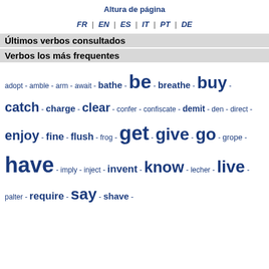Altura de página
FR | EN | ES | IT | PT | DE
Últimos verbos consultados
Verbos los más frequentes
adopt - amble - arm - await - bathe - be - breathe - buy - catch - charge - clear - confer - confiscate - demit - den - direct - enjoy - fine - flush - frog - get - give - go - grope - have - imply - inject - invent - know - lecher - live - palter - require - say - shave -